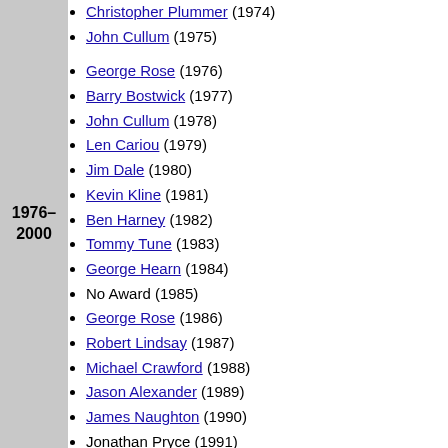Christopher Plummer (1974)
John Cullum (1975)
George Rose (1976)
Barry Bostwick (1977)
John Cullum (1978)
Len Cariou (1979)
Jim Dale (1980)
Kevin Kline (1981)
Ben Harney (1982)
Tommy Tune (1983)
George Hearn (1984)
No Award (1985)
George Rose (1986)
Robert Lindsay (1987)
Michael Crawford (1988)
Jason Alexander (1989)
James Naughton (1990)
Jonathan Pryce (1991)
Gregory Hines (1992)
Brent Carver (1993)
Boyd Gaines (1994)
Matthew Broderick (1995)
Nathan Lane (1996)
James Naughton (1997)
1976–2000